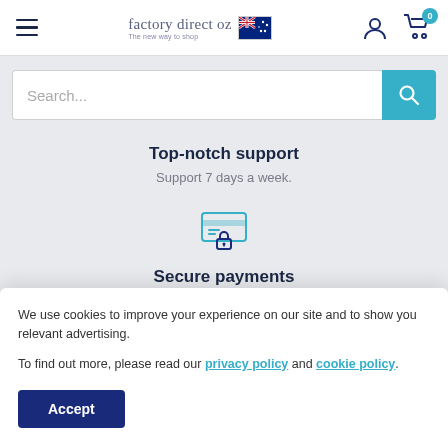factory direct oz — The new way to shop
Search...
Top-notch support
Support 7 days a week.
[Figure (illustration): Secure payment icon — credit card with a padlock]
Secure payments
We use cookies to improve your experience on our site and to show you relevant advertising.
To find out more, please read our privacy policy and cookie policy.
Accept